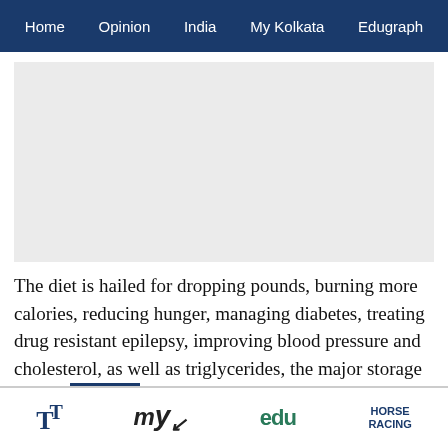Home  Opinion  India  My Kolkata  Edugraph
[Figure (other): Advertisement or image placeholder area, light gray background]
The diet is hailed for dropping pounds, burning more calories, reducing hunger, managing diabetes, treating drug resistant epilepsy, improving blood pressure and cholesterol, as well as triglycerides, the major storage form of fat in the body. People have reported improved concentration, too.
TT  my kolkata  edu  HORSE RACING